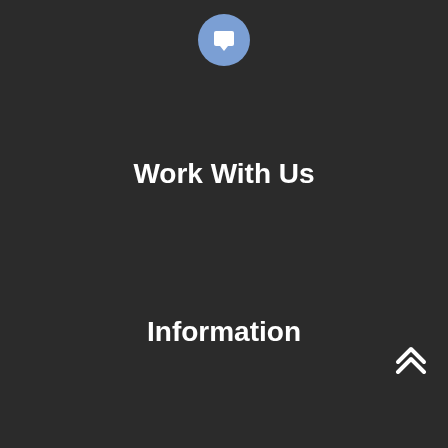[Figure (illustration): Blue circle icon with a white chat/message square symbol inside, centered at top of page]
Work With Us
Information
[Figure (illustration): Double chevron/arrow pointing upward, white color, positioned at bottom right]